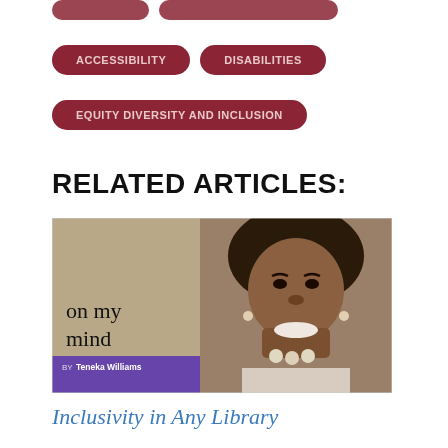ACCESSIBILITY
DISABILITIES
EQUITY DIVERSITY AND INCLUSION
RELATED ARTICLES:
[Figure (photo): Article thumbnail showing 'on my mind by Teneka Williams' with a sepia-toned photo of a smiling Black woman with curly hair, against a tan/beige left panel and purple banner at the bottom.]
Inclusivity in Any Library